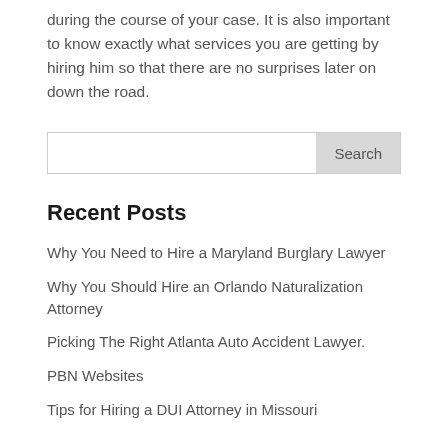during the course of your case. It is also important to know exactly what services you are getting by hiring him so that there are no surprises later on down the road.
[Figure (other): Search input box with Search button]
Recent Posts
Why You Need to Hire a Maryland Burglary Lawyer
Why You Should Hire an Orlando Naturalization Attorney
Picking The Right Atlanta Auto Accident Lawyer.
PBN Websites
Tips for Hiring a DUI Attorney in Missouri